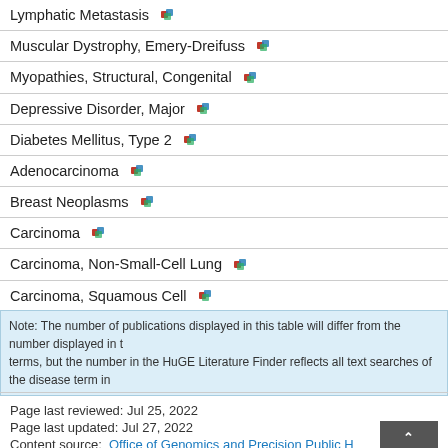| Disease/Condition |
| --- |
| Lymphatic Metastasis |
| Muscular Dystrophy, Emery-Dreifuss |
| Myopathies, Structural, Congenital |
| Depressive Disorder, Major |
| Diabetes Mellitus, Type 2 |
| Adenocarcinoma |
| Breast Neoplasms |
| Carcinoma |
| Carcinoma, Non-Small-Cell Lung |
| Carcinoma, Squamous Cell |
Note: The number of publications displayed in this table will differ from the number displayed in terms, but the number in the HuGE Literature Finder reflects all text searches of the disease term in
Page last reviewed: Jul 25, 2022
Page last updated: Jul 27, 2022
Content source: Office of Genomics and Precision Public Health, CDC Office of Science